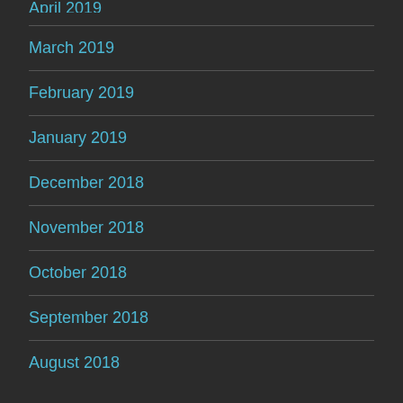April 2019
March 2019
February 2019
January 2019
December 2018
November 2018
October 2018
September 2018
August 2018